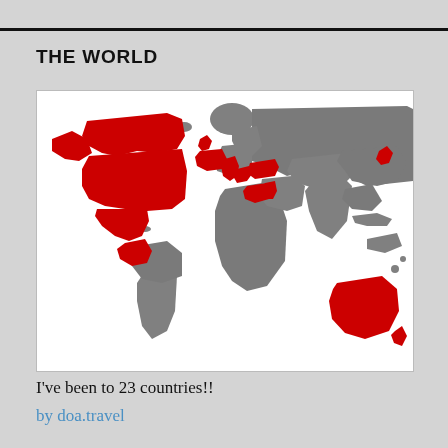THE WORLD
[Figure (map): World map showing visited countries highlighted in red. Red regions include: USA, Canada, Mexico/Central America, Colombia/northwestern South America, UK/Ireland, France, Spain/Portugal, Italy, Greece, Turkey, Egypt, Jordan/Israel, Japan, and Australia/New Zealand. All other countries shown in grey. White background.]
I've been to 23 countries!!
by doa.travel